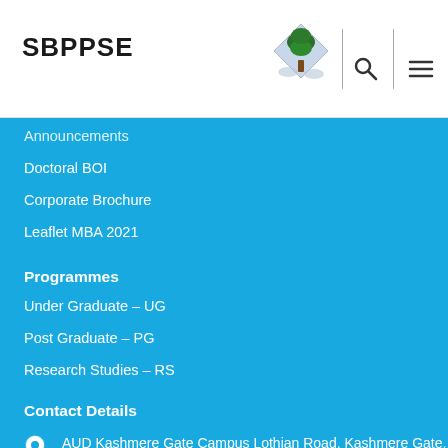SBPPSE
Announcements
Doctoral BOI
Corporate Brochure
Leaflet MBA 2021
Programmes
Under Graduate – UG
Post Graduate – PG
Research Studies – RS
Contact Details
AUD Kashmere Gate Campus Lothian Road, Kashmere Gate, Delhi –110006
Tel : +91-011-23864064
Fax : +91-011-23864064